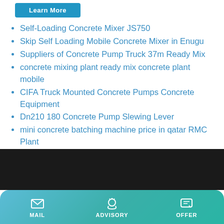[Figure (screenshot): Learn More button in blue/teal color at top left]
Self-Loading Concrete Mixer JS750
Skip Self Loading Mobile Concrete Mixer in Enugu
Suppliers of Concrete Pump Truck 37m Ready Mix
concrete mixing plant ready mix concrete plant mobile
CIFA Truck Mounted Concrete Pumps Concrete Equipment
Dn210 180 Concrete Pump Slewing Lever
mini concrete batching machine price in qatar RMC Plant
Concrete Plants For Sale types Of Batching Plant mobile
China Used Mercedes-Benz 37m Concrete Pump Truck
2 6 m3 self loading concrete mixer truck
MAIL | ADVISORY | OFFER